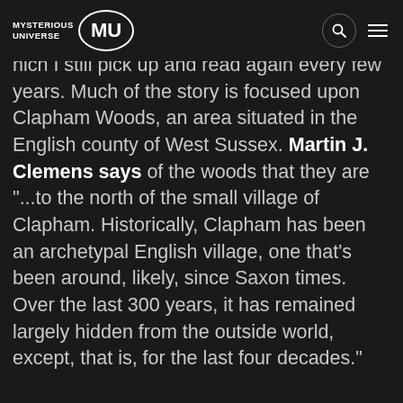MYSTERIOUS UNIVERSE
which I still pick up and read again every few years. Much of the story is focused upon Clapham Woods, an area situated in the English county of West Sussex. Martin J. Clemens says of the woods that they are "...to the north of the small village of Clapham. Historically, Clapham has been an archetypal English village, one that's been around, likely, since Saxon times. Over the last 300 years, it has remained largely hidden from the outside world, except, that is, for the last four decades."